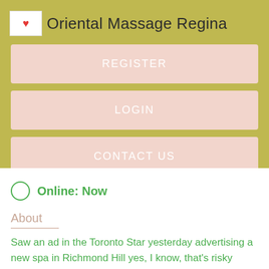Oriental Massage Regina
REGISTER
LOGIN
CONTACT US
Online: Now
About
Saw an ad in the Toronto Star yesterday advertising a new spa in Richmond Hill yes, I know, that's risky